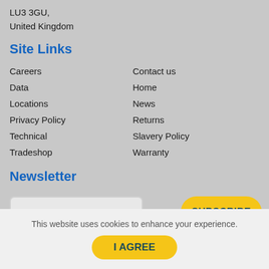LU3 3GU,
United Kingdom
Site Links
Careers
Contact us
Data
Home
Locations
News
Privacy Policy
Returns
Technical
Slavery Policy
Tradeshop
Warranty
Newsletter
E-mail address
SUBSCRIBE
Social
This website uses cookies to enhance your experience.
I AGREE